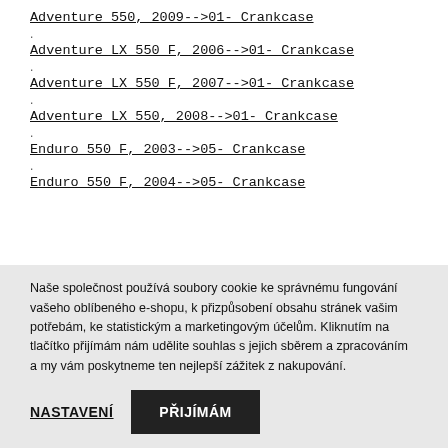Adventure 550, 2009-->01- Crankcase
.
Adventure LX 550 F, 2006-->01- Crankcase
.
Adventure LX 550 F, 2007-->01- Crankcase
.
Adventure LX 550, 2008-->01- Crankcase
.
Enduro 550 F, 2003-->05- Crankcase
.
Enduro 550 F, 2004-->05- Crankcase
Naše společnost používá soubory cookie ke správnému fungování vašeho oblíbeného e-shopu, k přizpůsobení obsahu stránek vašim potřebám, ke statistickým a marketingovým účelům. Kliknutím na tlačítko přijímám nám udělite souhlas s jejich sběrem a zpracováním a my vám poskytneme ten nejlepší zážitek z nakupování.
NASTAVENÍ
PŘIJÍMÁM